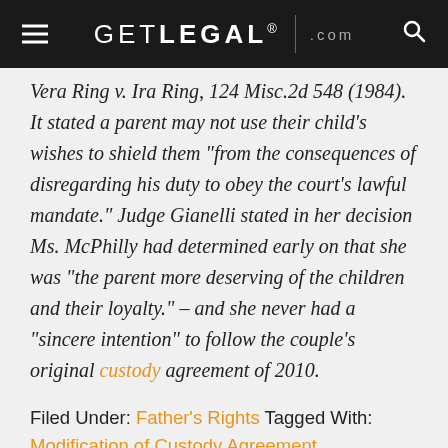GETLEGAL® .com
Vera Ring v. Ira Ring, 124 Misc.2d 548 (1984). It stated a parent may not use their child's wishes to shield them "from the consequences of disregarding his duty to obey the court's lawful mandate." Judge Gianelli stated in her decision Ms. McPhilly had determined early on that she was "the parent more deserving of the children and their loyalty." – and she never had a "sincere intention" to follow the couple's original custody agreement of 2010.
Filed Under: Father's Rights Tagged With: Modification of Custody Agreement